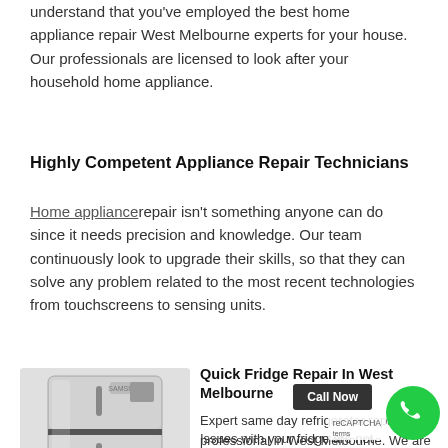understand that you've employed the best home appliance repair West Melbourne experts for your house. Our professionals are licensed to look after your household home appliance.
Highly Competent Appliance Repair Technicians
Home appliance repair isn't something anyone can do since it needs precision and knowledge. Our team continuously look to upgrade their skills, so that they can solve any problem related to the most recent technologies from touchscreens to sensing units.
[Figure (photo): Photo of a Samsung stainless steel refrigerator with top freezer compartment]
Quick Fridge Repair In West Melbourne
Expert same day refrigerator repair professional in West Melbourne. We are reputable and professional servicing all su of Melbourne.
Issues with your fridge are not